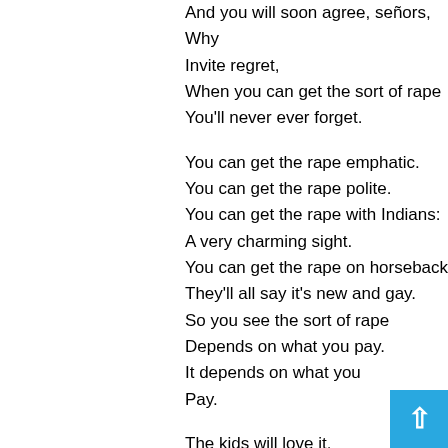And you will soon agree, señors,
Why
Invite regret,
When you can get the sort of rape
You'll never ever forget.

You can get the rape emphatic.
You can get the rape polite.
You can get the rape with Indians:
A very charming sight.
You can get the rape on horseback;
They'll all say it's new and gay.
So you see the sort of rape
Depends on what you pay.
It depends on what you
Pay.

The kids will love it.
It depends on what you pay!
So why be stingy?
It depends on what you —
[Figure (other): Back-to-top navigation button with upward chevron arrow on cyan/blue background]